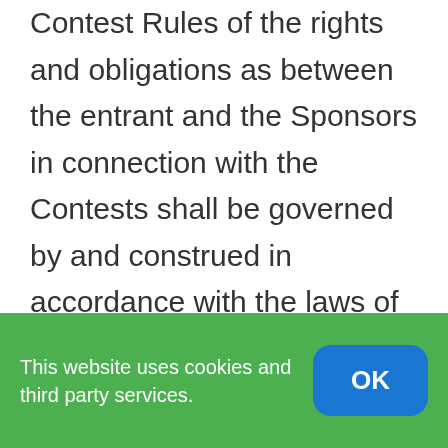Contest Rules of the rights and obligations as between the entrant and the Sponsors in connection with the Contests shall be governed by and construed in accordance with the laws of the province of Nova Scotia including procedural provisions without giving effect to any choice of law or conflict of law rules or provisions that would cause the application of any other jurisdiction's laws.
This website uses cookies and third party services.